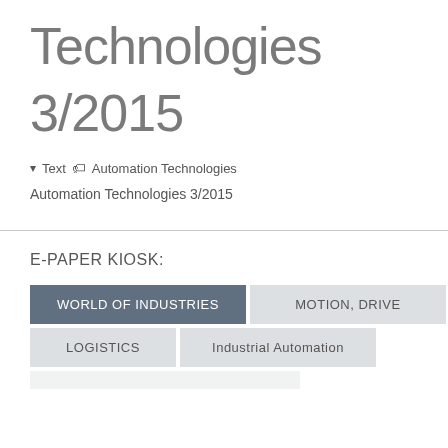Technologies
3/2015
▾Text 🏷 Automation Technologies
Automation Technologies 3/2015
E-PAPER KIOSK:
WORLD OF INDUSTRIES  MOTION, DRIVE  LOGISTICS  Industrial Automation